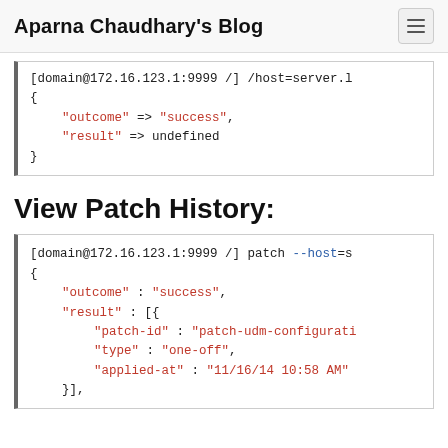Aparna Chaudhary's Blog
[domain@172.16.123.1:9999 /] /host=server.l
{
    "outcome" => "success",
    "result" => undefined
}
View Patch History:
[domain@172.16.123.1:9999 /] patch --host=s
{
    "outcome" : "success",
    "result" : [{
        "patch-id" : "patch-udm-configurati
        "type" : "one-off",
        "applied-at" : "11/16/14 10:58 AM"
    }],